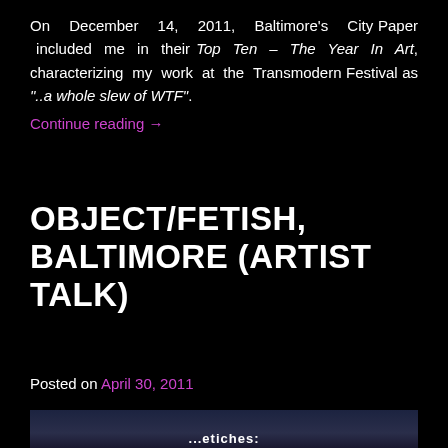On December 14, 2011, Baltimore's City Paper included me in their Top Ten – The Year In Art, characterizing my work at the Transmodern Festival as "..a whole slew of WTF".
Continue reading →
OBJECT/FETISH, BALTIMORE (ARTIST TALK)
Posted on April 30, 2011
[Figure (photo): Dark photo with partial text visible at bottom reading '...etiches:' on a dark blue-black background, appearing to be a presentation or exhibition display]